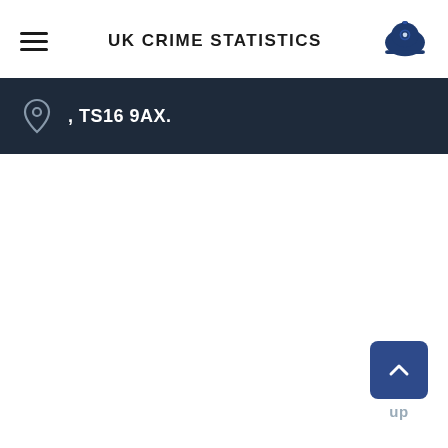UK CRIME STATISTICS
, TS16 9AX.
up